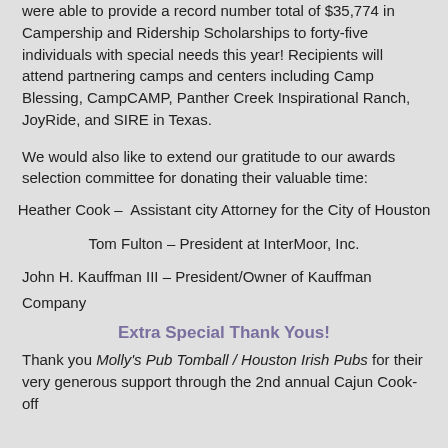were able to provide a record number total of $35,774 in Campership and Ridership Scholarships to forty-five individuals with special needs this year! Recipients will attend partnering camps and centers including Camp Blessing, CampCAMP, Panther Creek Inspirational Ranch, JoyRide, and SIRE in Texas.
We would also like to extend our gratitude to our awards selection committee for donating their valuable time:
Heather Cook – Assistant city Attorney for the City of Houston
Tom Fulton – President at InterMoor, Inc.
John H. Kauffman III – President/Owner of Kauffman Company
Extra Special Thank Yous!
Thank you Molly's Pub Tomball / Houston Irish Pubs for their very generous support through the 2nd annual Cajun Cook-off